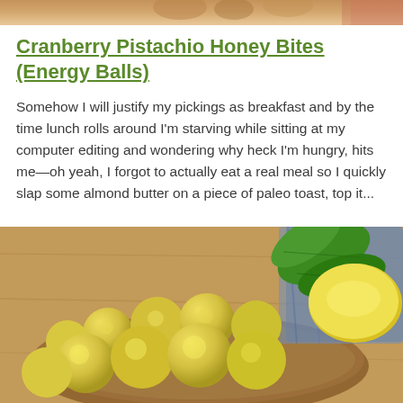[Figure (photo): Top portion of a food photo, cropped — appears to show nuts or similar food items on a surface]
Cranberry Pistachio Honey Bites (Energy Balls)
Somehow I will justify my pickings as breakfast and by the time lunch rolls around I’m starving while sitting at my computer editing and wondering why heck I’m hungry, hits me—oh yeah, I forgot to actually eat a real meal so I quickly slap some almond butter on a piece of paleo toast, top it...
[Figure (photo): Close-up photo of small round yellow energy balls/bites in a wooden bowl, with green leaves and a lemon visible in the background, on a wooden surface with blue cloth]